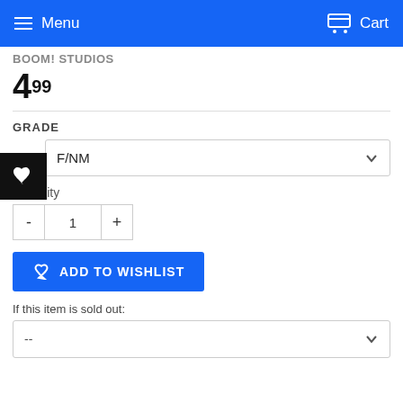Menu  Cart
BOOM! STUDIOS
4.99
GRADE
F/NM
Quantity
1
ADD TO WISHLIST
If this item is sold out:
--